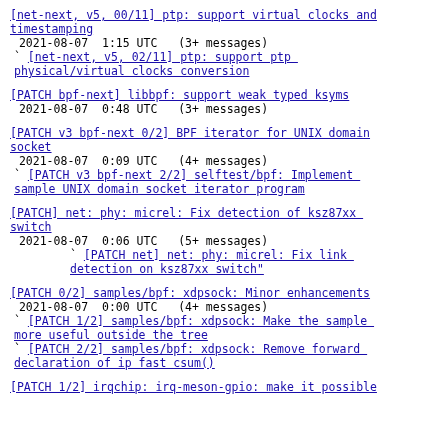[net-next, v5, 00/11] ptp: support virtual clocks and timestamping
2021-08-07  1:15 UTC  (3+ messages)
` [net-next, v5, 02/11] ptp: support ptp physical/virtual clocks conversion
[PATCH bpf-next] libbpf: support weak typed ksyms
2021-08-07  0:48 UTC  (3+ messages)
[PATCH v3 bpf-next 0/2] BPF iterator for UNIX domain socket
2021-08-07  0:09 UTC  (4+ messages)
` [PATCH v3 bpf-next 2/2] selftest/bpf: Implement sample UNIX domain socket iterator program
[PATCH] net: phy: micrel: Fix detection of ksz87xx switch
2021-08-07  0:06 UTC  (5+ messages)
          ` [PATCH net] net: phy: micrel: Fix link detection on ksz87xx switch"
[PATCH 0/2] samples/bpf: xdpsock: Minor enhancements
2021-08-07  0:00 UTC  (4+ messages)
` [PATCH 1/2] samples/bpf: xdpsock: Make the sample more useful outside the tree
` [PATCH 2/2] samples/bpf: xdpsock: Remove forward declaration of ip fast csum()
[PATCH 1/2] irqchip: irq-meson-gpio: make it possible to...